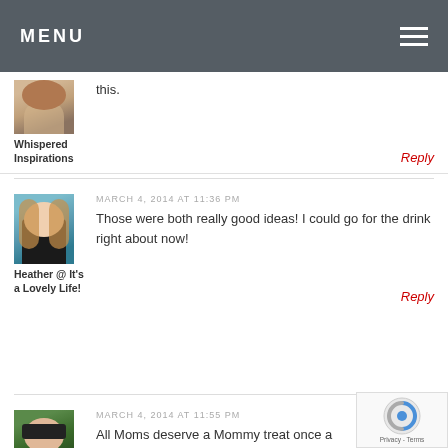MENU
this.
Whispered Inspirations
Reply
MARCH 4, 2014 AT 11:36 PM
Those were both really good ideas! I could go for the drink right about now!
Heather @ It's a Lovely Life!
Reply
MARCH 4, 2014 AT 11:55 PM
All Moms deserve a Mommy treat once a kids are in bed! They look delicious!